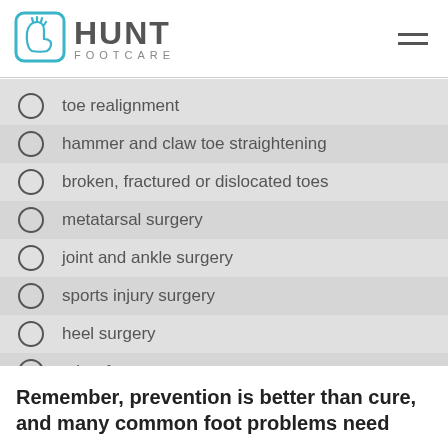[Figure (logo): Hunt Footcare logo with foot icon in blue rounded square and text HUNT FOOTCARE]
toe realignment
hammer and claw toe straightening
broken, fractured or dislocated toes
metatarsal surgery
joint and ankle surgery
sports injury surgery
heel surgery
other foot surgery
Remember, prevention is better than cure, and many common foot problems need